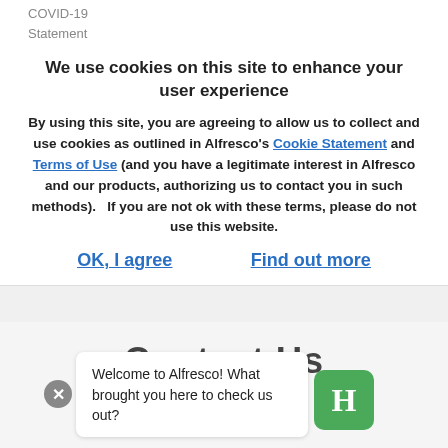COVID-19
Statement
We use cookies on this site to enhance your user experience
By using this site, you are agreeing to allow us to collect and use cookies as outlined in Alfresco's Cookie Statement and Terms of Use (and you have a legitimate interest in Alfresco and our products, authorizing us to contact you in such methods).   If you are not ok with these terms, please do not use this website.
OK, I agree    Find out more
Contact Us
Welcome to Alfresco! What brought you here to check us out?